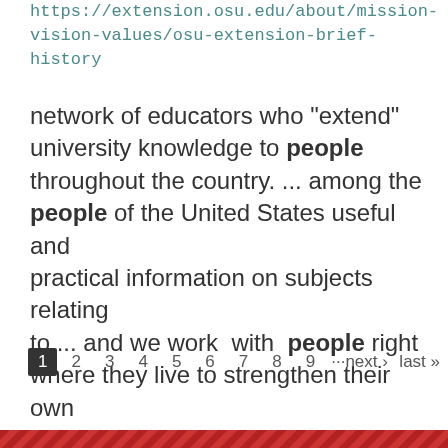https://extension.osu.edu/about/mission-vision-values/osu-extension-brief-history
network of educators who "extend" university knowledge to people throughout the country. ... among the people of the United States useful and practical information on subjects relating to ... and we work with people right where they live to strengthen their own lives and communities. ...
1 2 3 4 5 6 7 8 9 ···next › last »